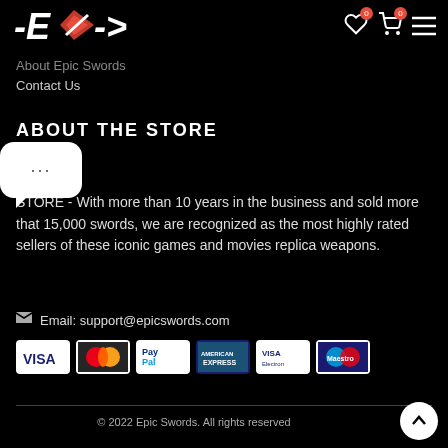Epic Swords logo with navigation icons (wishlist 0, cart 0, menu)
About Epic Swords
Contact Us
ABOUT THE STORE
STORE - With more than 10 years in the business and sold more that 15,000 swords, we are recognized as the most highly rated sellers of these iconic games and movies replica weapons.
Email: support@epicswords.com
[Figure (other): Payment method icons: VISA, MasterCard, PayPal, American Express, VISA Electron, Maestro]
© 2022 Epic Swords. All rights reserved